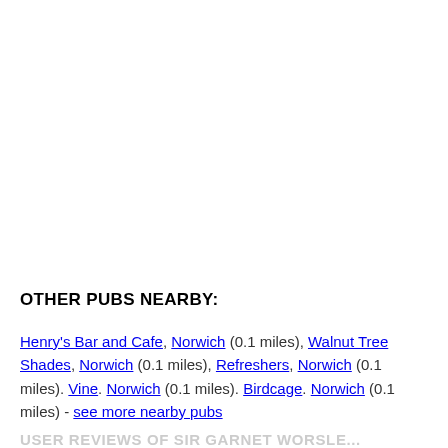OTHER PUBS NEARBY:
Henry's Bar and Cafe, Norwich (0.1 miles), Walnut Tree Shades, Norwich (0.1 miles), Refreshers, Norwich (0.1 miles). Vine. Norwich (0.1 miles). Birdcage. Norwich (0.1 miles) - see more nearby pubs
USER REVIEWS OF SIR GARNET WORSLE...